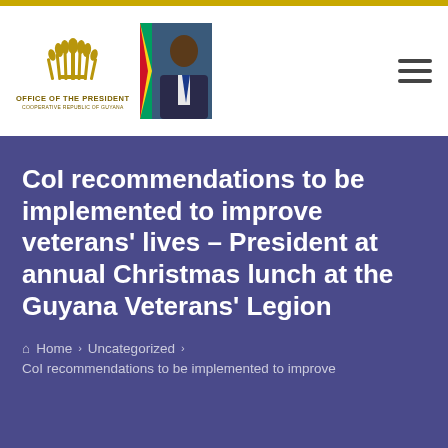Office of the President – Cooperative Republic of Guyana
CoI recommendations to be implemented to improve veterans' lives – President at annual Christmas lunch at the Guyana Veterans' Legion
Home > Uncategorized > CoI recommendations to be implemented to improve veterans' lives – President at annual Christmas lunch at the Guyana Veterans' Legion